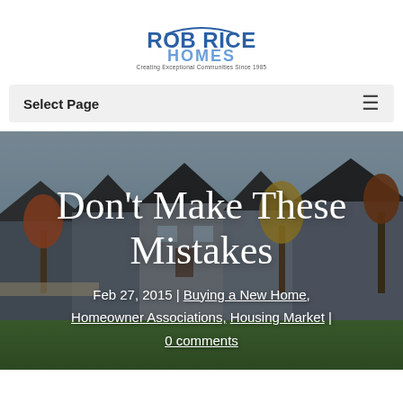[Figure (logo): Rob Rice Homes logo — bold blue 'ROB RICE' text, lighter blue 'HOMES' below, tagline 'Creating Exceptional Communities Since 1985', arc above the text]
Select Page
[Figure (photo): Suburban neighborhood street with multiple homes featuring dark roofs and gabled architecture, autumn trees with fall colors lining the street, green lawn in foreground]
Don't Make These Mistakes
Feb 27, 2015 | Buying a New Home, Homeowner Associations, Housing Market | 0 comments